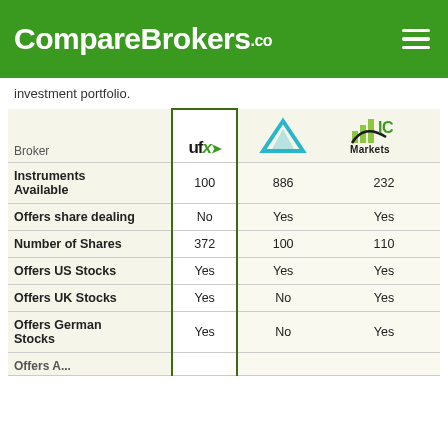CompareBrokers.co
investment portfolio.
| Broker | UFX | ALPHO | IC Markets |
| --- | --- | --- | --- |
| Instruments Available | 100 | 886 | 232 |
| Offers share dealing | No | Yes | Yes |
| Number of Shares | 372 | 100 | 110 |
| Offers US Stocks | Yes | Yes | Yes |
| Offers UK Stocks | Yes | No | Yes |
| Offers German Stocks | Yes | No | Yes |
| Offers ... | ... | ... | ... |